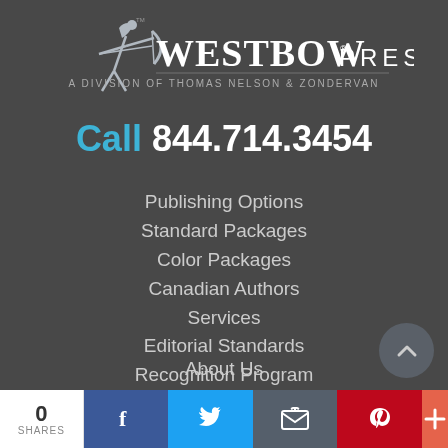[Figure (logo): WestBow Press logo with archer figure, text 'WESTBOW PRESS' and 'A DIVISION OF THOMAS NELSON & ZONDERVAN']
Call 844.714.3454
Publishing Options
Standard Packages
Color Packages
Canadian Authors
Services
Editorial Standards
Recognition Program
Why WestBow Press
Free Publishing Guide
About Us
0 SHARES | Facebook | Twitter | Email | Pinterest | More